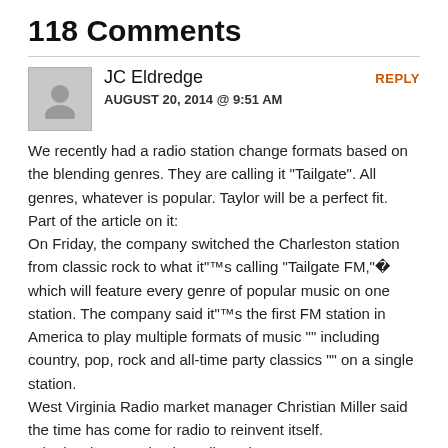118 Comments
JC Eldredge
AUGUST 20, 2014 @ 9:51 AM
REPLY
We recently had a radio station change formats based on the blending genres. They are calling it “Tailgate”. All genres, whatever is popular. Taylor will be a perfect fit.
Part of the article on it:
On Friday, the company switched the Charleston station from classic rock to what it”™s calling “Tailgate FM,”� which will feature every genre of popular music on one station. The company said it”™s the first FM station in America to play multiple formats of music ”” including country, pop, rock and all-time party classics ”” on a single station.
West Virginia Radio market manager Christian Miller said the time has come for radio to reinvent itself.
“The iPod generation has allowed our younger demographics to listen to all genres of music simultaneously, so we decided it was